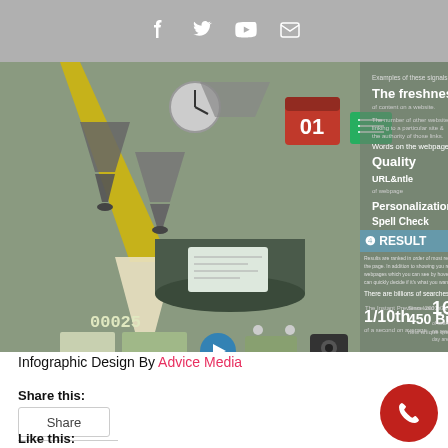Social media icons: Facebook, Twitter, YouTube, Email
[Figure (infographic): SEO infographic showing search result signals including freshness, quality, URL & title, personalization, spell check, and result statistics: 1/10th of a second on average, 450 Billion new unique queries, 16% of searches we see every day are new.]
Infographic Design By Advice Media
Share this:
Share
Like this: